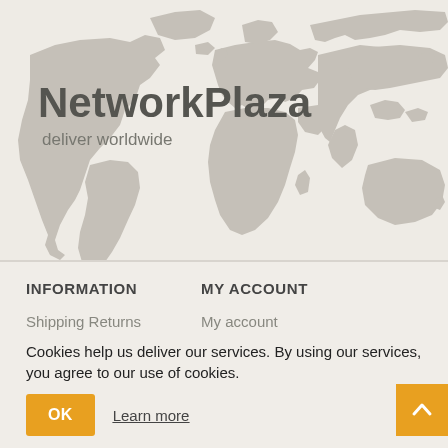[Figure (map): World map silhouette in grey on a light beige background]
NetworkPlaza
deliver worldwide
INFORMATION
MY ACCOUNT
Shipping Returns
My account
Cookies help us deliver our services. By using our services, you agree to our use of cookies.
OK
Learn more